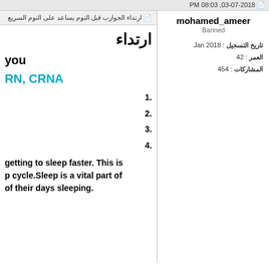03-07-2018, 08:03 PM
ارتداء الجوارب قبل النوم يساعد على النوم السريع
ارتداء
you
RN, CRNA
1.
2.
3.
4.
getting to sleep faster. This is p cycle.Sleep is a vital part of of their days sleeping.
mohamed_ameer
Banned
تاريخ التسجيل: Jan 2018
العمر: 42
المشاركات: 454